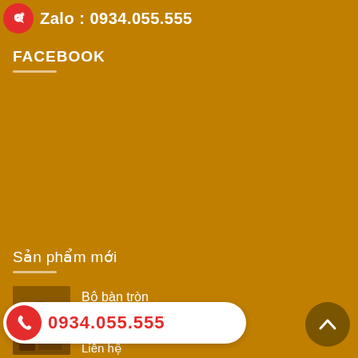Zalo : 0934.055.555
FACEBOOK
Sản phẩm mới
[Figure (photo): Thumbnail of round wooden dining table set]
Bộ bàn tròn
Liên hệ
[Figure (photo): Thumbnail of red wood furniture]
g gỗ gõ đỏ
Liên hệ
0934.055.555